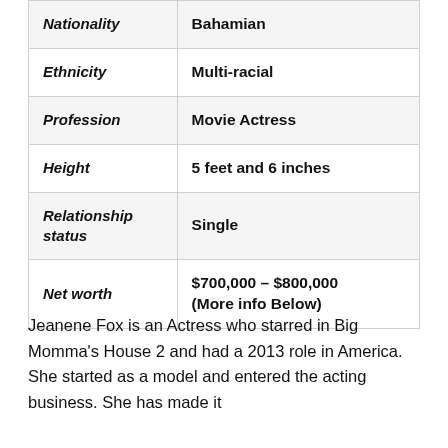|  |  |
| --- | --- |
| Nationality | Bahamian |
| Ethnicity | Multi-racial |
| Profession | Movie Actress |
| Height | 5 feet and 6 inches |
| Relationship status | Single |
| Net worth | $700,000 – $800,000
(More info Below) |
Jeanene Fox is an Actress who starred in Big Momma's House 2 and had a 2013 role in America. She started as a model and entered the acting business. She has made it